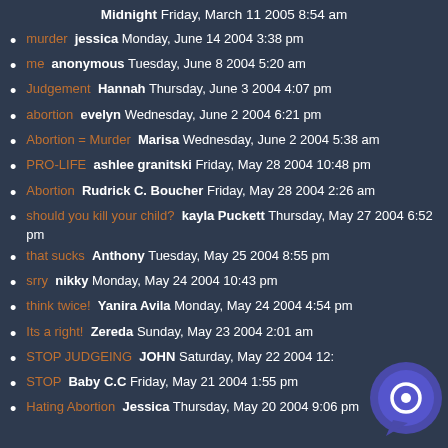Midnight Friday, March 11 2005 8:54 am
murder  jessica Monday, June 14 2004 3:38 pm
me  anonymous Tuesday, June 8 2004 5:20 am
Judgement  Hannah Thursday, June 3 2004 4:07 pm
abortion  evelyn Wednesday, June 2 2004 6:21 pm
Abortion = Murder  Marisa Wednesday, June 2 2004 5:38 am
PRO-LIFE  ashlee granitski Friday, May 28 2004 10:48 pm
Abortion  Rudrick C. Boucher Friday, May 28 2004 2:26 am
should you kill your child?  kayla Puckett Thursday, May 27 2004 6:52 pm
that sucks  Anthony Tuesday, May 25 2004 8:55 pm
srry  nikky Monday, May 24 2004 10:43 pm
think twice!  Yanira Avila Monday, May 24 2004 4:54 pm
Its a right!  Zereda Sunday, May 23 2004 2:01 am
STOP JUDGEING  JOHN Saturday, May 22 2004 12:...
STOP  Baby C.C Friday, May 21 2004 1:55 pm
Hating Abortion  Jessica Thursday, May 20 2004 9:06 pm